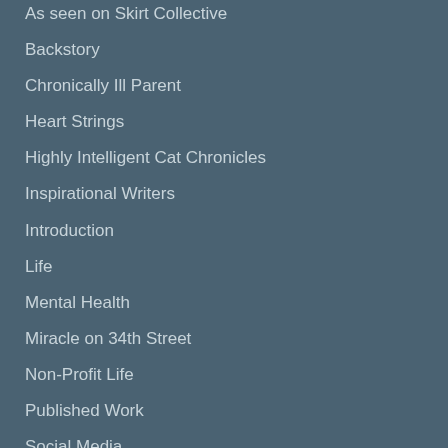As seen on Skirt Collective
Backstory
Chronically Ill Parent
Heart Strings
Highly Intelligent Cat Chronicles
Inspirational Writers
Introduction
Life
Mental Health
Miracle on 34th Street
Non-Profit Life
Published Work
Social Media